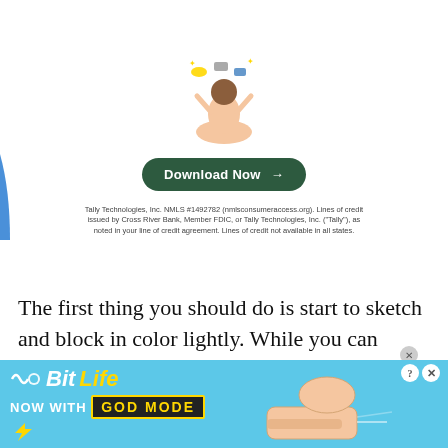[Figure (illustration): Advertisement banner for Tally Technologies featuring a illustrated person meditating with financial items floating above, a blue decorative shape on the left, a 'Download Now' button, and disclaimer text. Below is a BitLife 'NOW WITH GOD MODE' banner advertisement at the bottom.]
The first thing you should do is start to sketch and block in color lightly. While you can pressure to get a lot of pigment on the paper, you don't need to do this right away. Instead, use a light amount of pigment and plenty of water to create your first wash. After that wash has dried completely, you can add another layer of color, this time using more pigment. You then